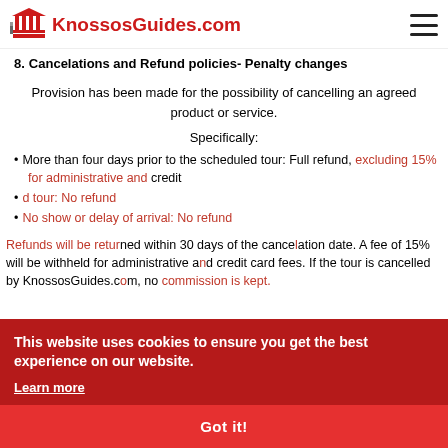KnossosGuides.com
8. Cancelations and Refund policies- Penalty changes
Provision has been made for the possibility of cancelling an agreed product or service.
Specifically:
More than four days prior to the scheduled tour: Full refund, excluding 15% for administrative and credit
d tour: No refund
No show or delay of arrival: No refund
Refunds will be returned within 30 days of the cancelation date. A fee of 15% will be withheld for administrative and credit card fees. If the tour is cancelled by KnossosGuides.com, no commission is kept.
This website uses cookies to ensure you get the best experience on our website.
Learn more
Got it!